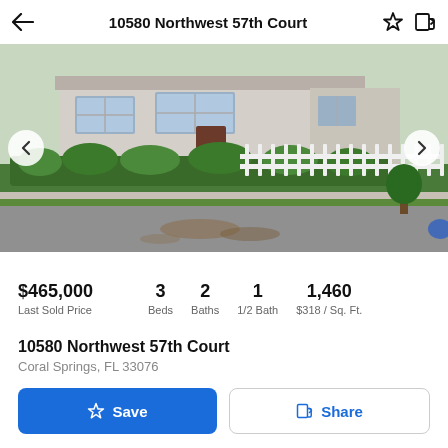10580 Northwest 57th Court
[Figure (photo): Exterior photo of a single-story house with green hedges, white picket fence, and a driveway in the foreground.]
$465,000 Last Sold Price  3 Beds  2 Baths  1 1/2 Bath  1,460 $318 / Sq. Ft.
10580 Northwest 57th Court
Coral Springs, FL 33076